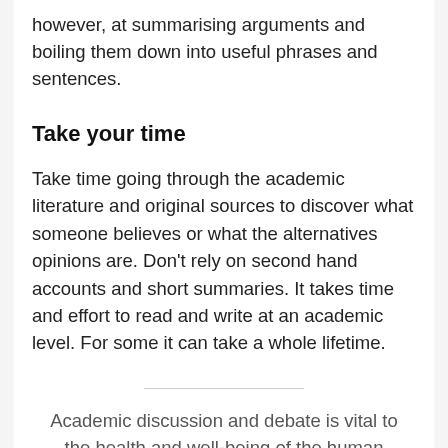however, at summarising arguments and boiling them down into useful phrases and sentences.
Take your time
Take time going through the academic literature and original sources to discover what someone believes or what the alternatives opinions are. Don't rely on second hand accounts and short summaries. It takes time and effort to read and write at an academic level. For some it can take a whole lifetime.
Academic discussion and debate is vital to the health and well-being of the human race. Reducing our daily intake to tweets from